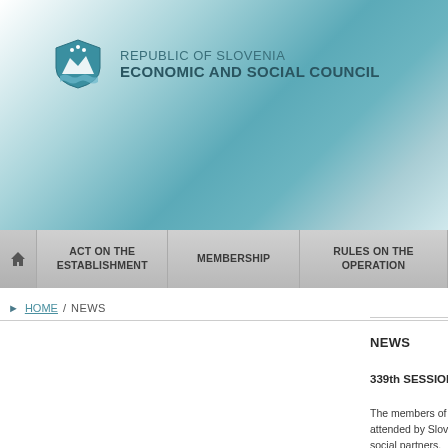[Figure (screenshot): Republic of Slovenia Economic and Social Council website header banner with gradient teal/blue background and Slovenian coat of arms logo]
REPUBLIC OF SLOVENIA
ECONOMIC AND SOCIAL COUNCIL
ACT ON THE ESTABLISHMENT
MEMBERSHIP
RULES ON THE OPERATION
HOME / NEWS
NEWS
339th SESSION OF THE ECO
The members of the Economic... was attended by Slovenian Pr... of office to the social partners.